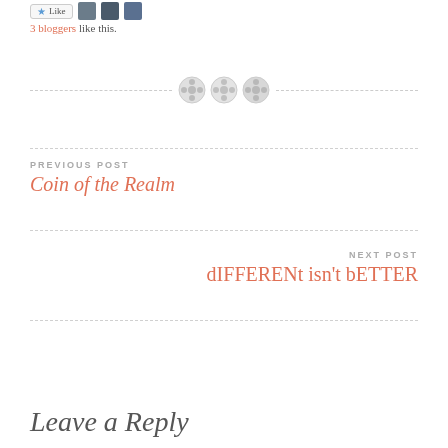[Figure (other): Like button with star icon and three blogger avatar thumbnails]
3 bloggers like this.
[Figure (other): Decorative dashed divider line with three button/gear icons in the center]
PREVIOUS POST
Coin of the Realm
NEXT POST
dIFFERENt isn't bETTER
Leave a Reply